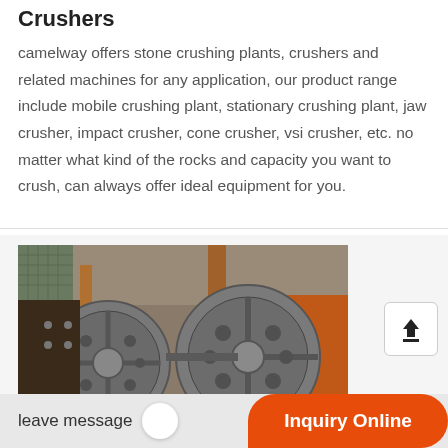Crushers
camelway offers stone crushing plants, crushers and related machines for any application, our product range include mobile crushing plant, stationary crushing plant, jaw crusher, impact crusher, cone crusher, vsi crusher, etc. no matter what kind of the rocks and capacity you want to crush, can always offer ideal equipment for you.
[Figure (photo): Industrial jaw crusher machinery showing large flywheel/pulley mechanisms with heavy metal components, reddish-brown steel frame structure, photographed at a stone crushing plant facility.]
leave message
Inquiry Online